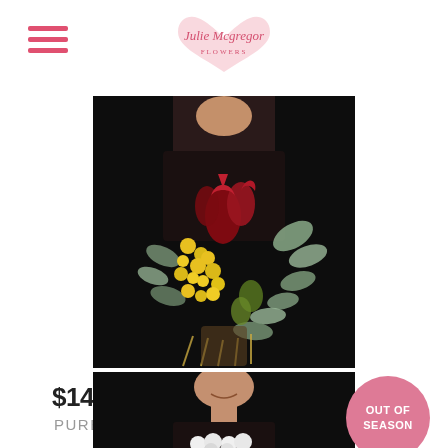Julie McGregor Flowers
[Figure (photo): Person holding a large native Australian floral bouquet with red proteas, yellow orchids, and eucalyptus foliage against a dark background]
$149.95 - $269.95
PURE
[Figure (photo): Person holding a white floral bouquet against a dark background, with an 'OUT OF SEASON' badge overlay]